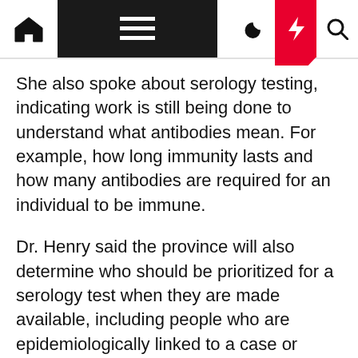[Navigation bar with home, menu, moon, bolt, search icons]
She also spoke about serology testing, indicating work is still being done to understand what antibodies mean. For example, how long immunity lasts and how many antibodies are required for an individual to be immune.
Dr. Henry said the province will also determine who should be prioritized for a serology test when they are made available, including people who are epidemiologically linked to a case or individuals who had a “COVID compatible illness” during the previous few months.
There is also a research project with random serology samples from different age groups of people in B.C.
$100 million distributed to frontline workers in